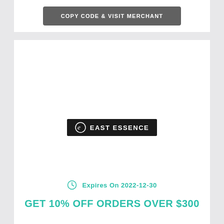COPY CODE & VISIT MERCHANT
[Figure (logo): East Essence brand logo — white text and icon on black background]
Expires On 2022-12-30
GET 10% OFF ORDERS OVER $300
COPY CODE & VISIT MERCHANT